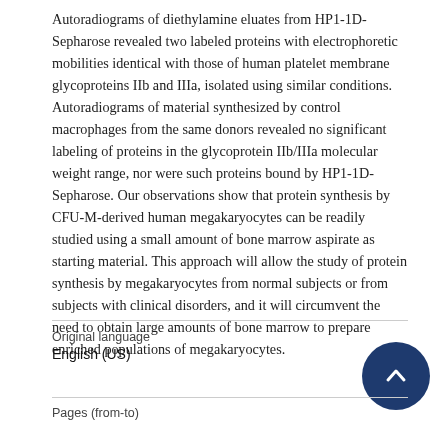Autoradiograms of diethylamine eluates from HP1-1D-Sepharose revealed two labeled proteins with electrophoretic mobilities identical with those of human platelet membrane glycoproteins IIb and IIIa, isolated using similar conditions. Autoradiograms of material synthesized by control macrophages from the same donors revealed no significant labeling of proteins in the glycoprotein IIb/IIIa molecular weight range, nor were such proteins bound by HP1-1D-Sepharose. Our observations show that protein synthesis by CFU-M-derived human megakaryocytes can be readily studied using a small amount of bone marrow aspirate as starting material. This approach will allow the study of protein synthesis by megakaryocytes from normal subjects or from subjects with clinical disorders, and it will circumvent the need to obtain large amounts of bone marrow to prepare enriched populations of megakaryocytes.
Original language
English (US)
Pages (from-to)